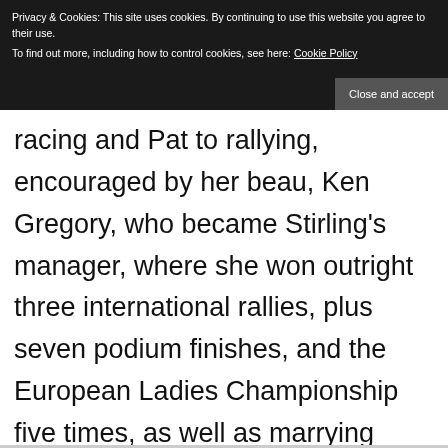(a... ...first... ...1... ...to... ...1... ...to... ...908... ...to... ...908) fo
Privacy & Cookies: This site uses cookies. By continuing to use this website you agree to their use. To find out more, including how to control cookies, see here: Cookie Policy
Close and accept
racing and Pat to rallying, encouraged by her beau, Ken Gregory, who became Stirling’s manager, where she won outright three international rallies, plus seven podium finishes, and the European Ladies Championship five times, as well as marrying Swedish rally ace, Erik Carlsson…